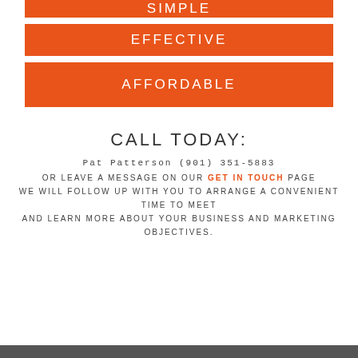SIMPLE
EFFECTIVE
AFFORDABLE
CALL TODAY:
Pat Patterson (901) 351-5883
OR LEAVE A MESSAGE ON OUR GET IN TOUCH PAGE WE WILL FOLLOW UP WITH YOU TO ARRANGE A CONVENIENT TIME TO MEET AND LEARN MORE ABOUT YOUR BUSINESS AND MARKETING OBJECTIVES.